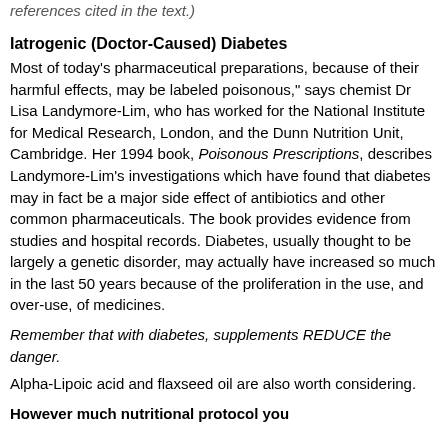references cited in the text.)
Iatrogenic (Doctor-Caused) Diabetes
Most of today's pharmaceutical preparations, because of their harmful effects, may be labeled poisonous," says chemist Dr Lisa Landymore-Lim, who has worked for the National Institute for Medical Research, London, and the Dunn Nutrition Unit, Cambridge. Her 1994 book, Poisonous Prescriptions, describes Landymore-Lim's investigations which have found that diabetes may in fact be a major side effect of antibiotics and other common pharmaceuticals. The book provides evidence from studies and hospital records. Diabetes, usually thought to be largely a genetic disorder, may actually have increased so much in the last 50 years because of the proliferation in the use, and over-use, of medicines.
Remember that with diabetes, supplements REDUCE the danger.
Alpha-Lipoic acid and flaxseed oil are also worth considering.
However much nutritional protocol you